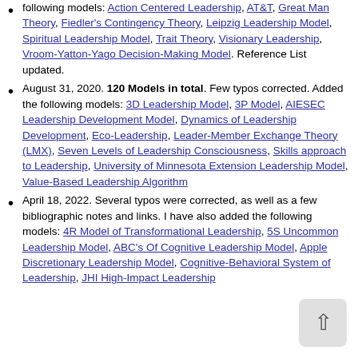following models: Action Centered Leadership, AT&T, Great Man Theory, Fiedler's Contingency Theory, Leipzig Leadership Model, Spiritual Leadership Model, Trait Theory, Visionary Leadership, Vroom-Yatton-Yago Decision-Making Model. Reference List updated.
August 31, 2020. 120 Models in total. Few typos corrected. Added the following models: 3D Leadership Model, 3P Model, AIESEC Leadership Development Model, Dynamics of Leadership Development, Eco-Leadership, Leader-Member Exchange Theory (LMX), Seven Levels of Leadership Consciousness, Skills approach to Leadership, University of Minnesota Extension Leadership Model, Value-Based Leadership Algorithm
April 18, 2022. Several typos were corrected, as well as a few bibliographic notes and links. I have also added the following models: 4R Model of Transformational Leadership, 5S Uncommon Leadership Model, ABC's Of Cognitive Leadership Model, Apple Discretionary Leadership Model, Cognitive-Behavioral System of Leadership, JHI High-Impact Leadership